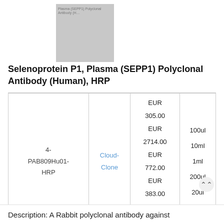[Figure (photo): Thumbnail image placeholder for Plasma (SEPP1) Polyclonal Antibody (Human) product]
Selenoprotein P1, Plasma (SEPP1) Polyclonal Antibody (Human), HRP
|  |  |  |  |
| --- | --- | --- | --- |
| 4-PAB809Hu01-HRP | Cloud-Clone | EUR 305.00 EUR 2714.00 EUR 772.00 EUR 383.00 EUR 203.00 | 100ul 10ml 1ml 200ul 20ul |
Description: A Rabbit polyclonal antibody against